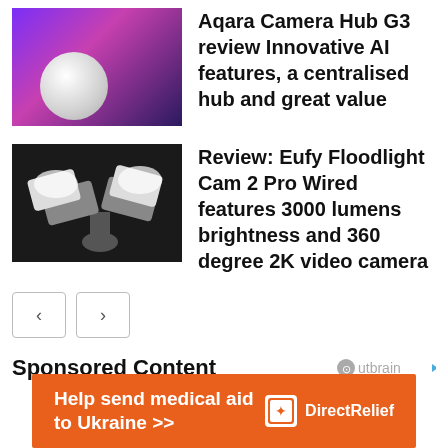[Figure (photo): White round security camera against purple/pink background]
Aqara Camera Hub G3 review Innovative AI features, a centralised hub and great value
[Figure (photo): Eufy floodlight camera with bright white LEDs on dark background]
Review: Eufy Floodlight Cam 2 Pro Wired features 3000 lumens brightness and 360 degree 2K video camera
[Figure (other): Navigation previous and next buttons]
Sponsored Content
[Figure (logo): Outbrain logo]
[Figure (other): Advertisement banner: Help send medical aid to Ukraine - DirectRelief]